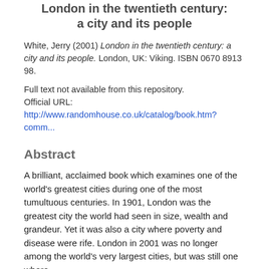London in the twentieth century: a city and its people
White, Jerry (2001) London in the twentieth century: a city and its people. London, UK: Viking. ISBN 0670 8913 98.
Full text not available from this repository. Official URL: http://www.randomhouse.co.uk/catalog/book.htm?comm...
Abstract
A brilliant, acclaimed book which examines one of the world's greatest cities during one of the most tumultuous centuries. In 1901, London was the greatest city the world had seen in size, wealth and grandeur. Yet it was also a city where poverty and disease were rife. London in 2001 was no longer among the world's very largest cities, but was still one where